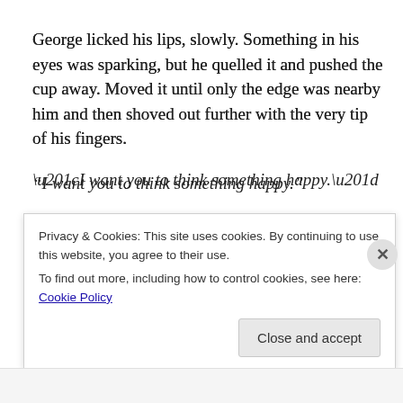George licked his lips, slowly. Something in his eyes was sparking, but he quelled it and pushed the cup away. Moved it until only the edge was nearby him and then shoved out further with the very tip of his fingers.
“I want you to think something happy.”
“I can’t—that won’t help. Stop…stop it.”
“I want you to tell me something you like about yourself.”
Privacy & Cookies: This site uses cookies. By continuing to use this website, you agree to their use.
To find out more, including how to control cookies, see here: Cookie Policy
Close and accept